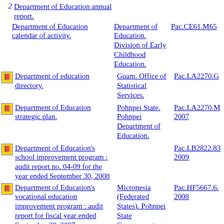2 Department of Education annual report.
Department of Education calendar of activity. | Department of Education. Division of Early Childhood Education. | Pac.CE61.M65
Department of education directory. | Guam. Office of Statistical Services. | Pac.LA2270.G
Department of Education strategic plan. | Pohnpei State. Pohnpei Department of Education. | Pac.LA2270.M 2007
Department of Education's school improvement program : audit report no. 04-09 for the year ended September 30, 2008 | Pac.LB2822.83 2009
Department of Education's vocational education improvement program : audit report for fiscal year ended September 30, 2007 | Micronesia (Federated States). Pohnpei State Government. | Pac.HF5667.6. 2008